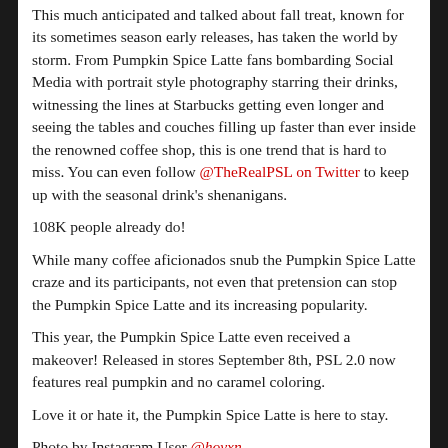This much anticipated and talked about fall treat, known for its sometimes season early releases, has taken the world by storm. From Pumpkin Spice Latte fans bombarding Social Media with portrait style photography starring their drinks, witnessing the lines at Starbucks getting even longer and seeing the tables and couches filling up faster than ever inside the renowned coffee shop, this is one trend that is hard to miss. You can even follow @TheRealPSL on Twitter to keep up with the seasonal drink's shenanigans.
108K people already do!
While many coffee aficionados snub the Pumpkin Spice Latte craze and its participants, not even that pretension can stop the Pumpkin Spice Latte and its increasing popularity.
This year, the Pumpkin Spice Latte even received a makeover! Released in stores September 8th, PSL 2.0 now features real pumpkin and no caramel coloring.
Love it or hate it, the Pumpkin Spice Latte is here to stay.
Photo by Instagram User @hovxn.
Comments